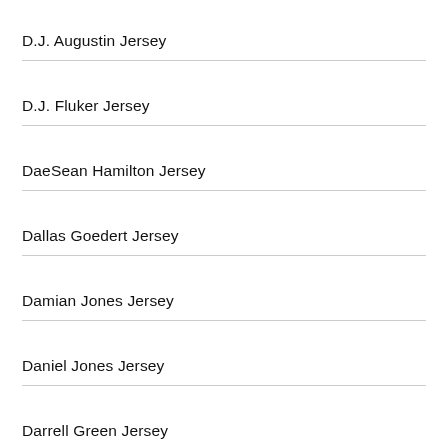D.J. Augustin Jersey
D.J. Fluker Jersey
DaeSean Hamilton Jersey
Dallas Goedert Jersey
Damian Jones Jersey
Daniel Jones Jersey
Darrell Green Jersey
Darren Fells Jersey
Datone Jones Jersey